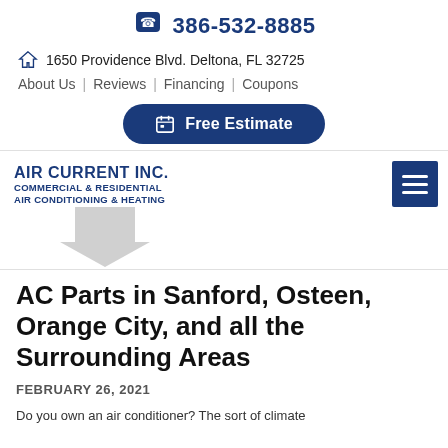386-532-8885
1650 Providence Blvd. Deltona, FL 32725
About Us | Reviews | Financing | Coupons
Free Estimate
[Figure (logo): Air Current Inc. logo with text: AIR CURRENT INC. COMMERCIAL & RESIDENTIAL AIR CONDITIONING & HEATING, with a large grey downward arrow]
AC Parts in Sanford, Osteen, Orange City, and all the Surrounding Areas
FEBRUARY 26, 2021
Do you own an air conditioner? The sort of climate